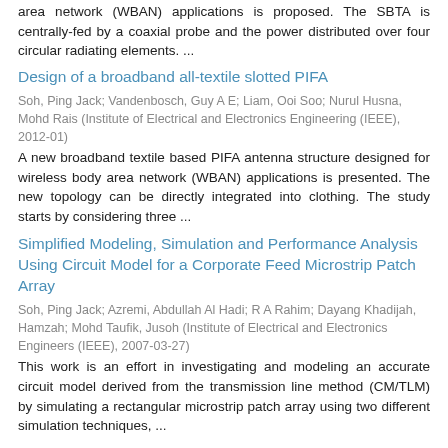area network (WBAN) applications is proposed. The SBTA is centrally-fed by a coaxial probe and the power distributed over four circular radiating elements. ...
Design of a broadband all-textile slotted PIFA
Soh, Ping Jack; Vandenbosch, Guy A E; Liam, Ooi Soo; Nurul Husna, Mohd Rais (Institute of Electrical and Electronics Engineering (IEEE), 2012-01)
A new broadband textile based PIFA antenna structure designed for wireless body area network (WBAN) applications is presented. The new topology can be directly integrated into clothing. The study starts by considering three ...
Simplified Modeling, Simulation and Performance Analysis Using Circuit Model for a Corporate Feed Microstrip Patch Array
Soh, Ping Jack; Azremi, Abdullah Al Hadi; R A Rahim; Dayang Khadijah, Hamzah; Mohd Taufik, Jusoh (Institute of Electrical and Electronics Engineers (IEEE), 2007-03-27)
This work is an effort in investigating and modeling an accurate circuit model derived from the transmission line method (CM/TLM) by simulating a rectangular microstrip patch array using two different simulation techniques, ...
Review of Design Strcuture Tiredness (DST)